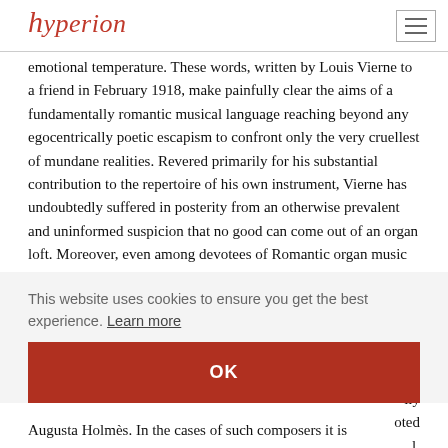Hyperion logo and navigation
sufferings of others—that is the role of the artist…' few works carry with them so clear a verbal indication of their emotional temperature. These words, written by Louis Vierne to a friend in February 1918, make painfully clear the aims of a fundamentally romantic musical language reaching beyond any egocentrically poetic escapism to confront only the very cruellest of mundane realities. Revered primarily for his substantial contribution to the repertoire of his own instrument, Vierne has undoubtedly suffered in posterity from an otherwise prevalent and uninformed suspicion that no good can come out of an organ loft. Moreover, even among devotees of Romantic organ music there may lurk a largely subconscious tendency to apprehend only disembodied spirituality under strict control—or
oy the
d. Yet her
lly oted l,
This website uses cookies to ensure you get the best experience. Learn more
OK
Augusta Holmès. In the cases of such composers it is